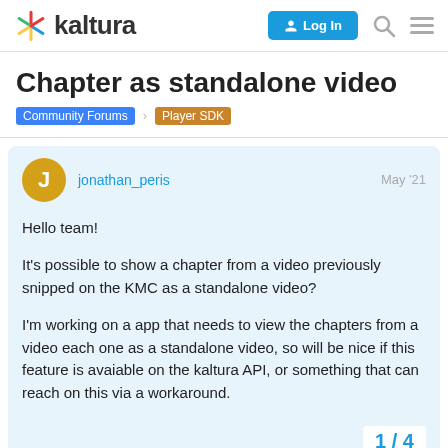kaltura  Log In
Chapter as standalone video
Community Forums  Player SDK
jonathan_peris  May '21
Hello team!

It's possible to show a chapter from a video previously snipped on the KMC as a standalone video?

I'm working on a app that needs to view the chapters from a video each one as a standalone video, so will be nice if this feature is avaiable on the kaltura API, or something that can reach on this via a workaround.
1 / 4